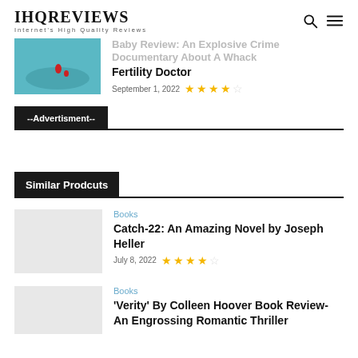IHQREVIEWS
Internet's High Quality Reviews
…Baby Review: An Explosive Crime Documentary About A Whack Fertility Doctor
September 1, 2022 ★★★★☆
--Advertisment--
Similar Prodcuts
Books
Catch-22: An Amazing Novel by Joseph Heller
July 8, 2022 ★★★★☆
Books
'Verity' By Colleen Hoover Book Review- An Engrossing Romantic Thriller